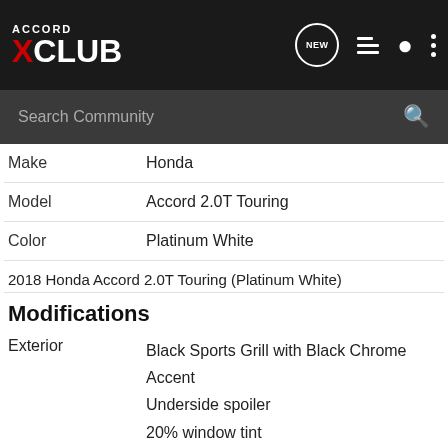Accord X Club — Search Community
| Field | Value |
| --- | --- |
| Make | Honda |
| Model | Accord 2.0T Touring |
| Color | Platinum White |
2018 Honda Accord 2.0T Touring (Platinum White)
Modifications
| Category | Details |
| --- | --- |
| Exterior | Black Sports Grill with Black Chrome Accent
Underside spoiler
20% window tint
Fender Emblems |